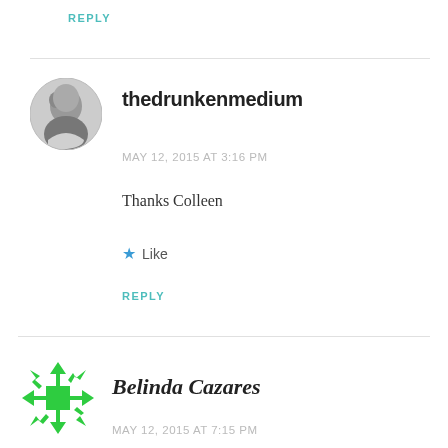REPLY
[Figure (photo): Circular black and white profile photo of a person (thedrunkenmedium)]
thedrunkenmedium
MAY 12, 2015 AT 3:16 PM
Thanks Colleen
★ Like
REPLY
[Figure (logo): Green snowflake/move icon avatar for Belinda Cazares]
Belinda Cazares
MAY 12, 2015 AT 7:15 PM